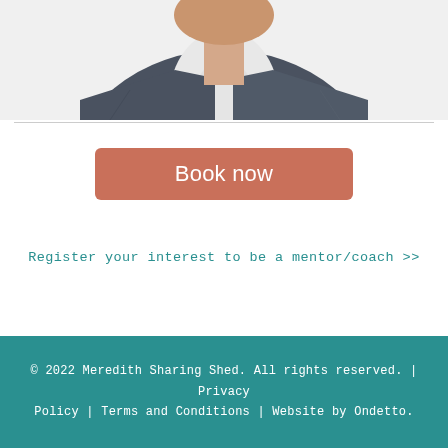[Figure (photo): Partial photo of a man wearing a dark grey blazer and white dress shirt, cropped to show torso and partial head/neck area]
Book now
Register your interest to be a mentor/coach >>
© 2022 Meredith Sharing Shed. All rights reserved. | Privacy Policy | Terms and Conditions | Website by Ondetto.